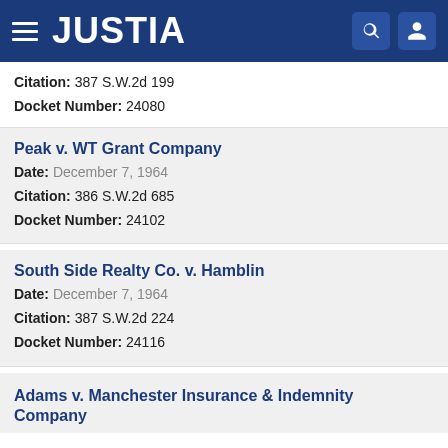JUSTIA
Citation: 387 S.W.2d 199
Docket Number: 24080
Peak v. WT Grant Company
Date: December 7, 1964
Citation: 386 S.W.2d 685
Docket Number: 24102
South Side Realty Co. v. Hamblin
Date: December 7, 1964
Citation: 387 S.W.2d 224
Docket Number: 24116
Adams v. Manchester Insurance & Indemnity Company